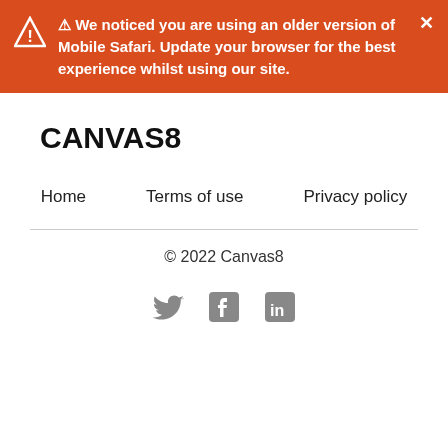⚠ We noticed you are using an older version of Mobile Safari. Update your browser for the best experience whilst using our site.
[Figure (logo): CANVAS8 logo in bold black text]
Home
Terms of use
Privacy policy
© 2022 Canvas8
[Figure (other): Social media icons: Twitter bird, Facebook f, LinkedIn in]